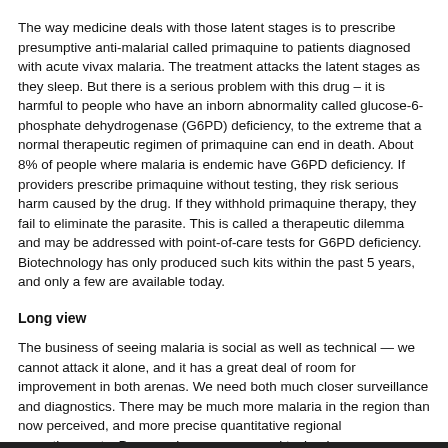The way medicine deals with those latent stages is to prescribe presumptive anti-malarial called primaquine to patients diagnosed with acute vivax malaria. The treatment attacks the latent stages as they sleep. But there is a serious problem with this drug – it is harmful to people who have an inborn abnormality called glucose-6-phosphate dehydrogenase (G6PD) deficiency, to the extreme that a normal therapeutic regimen of primaquine can end in death. About 8% of people where malaria is endemic have G6PD deficiency. If providers prescribe primaquine without testing, they risk serious harm caused by the drug. If they withhold primaquine therapy, they fail to eliminate the parasite. This is called a therapeutic dilemma and may be addressed with point-of-care tests for G6PD deficiency. Biotechnology has only produced such kits within the past 5 years, and only a few are available today.
Long view
The business of seeing malaria is social as well as technical — we cannot attack it alone, and it has a great deal of room for improvement in both arenas. We need both much closer surveillance and diagnostics. There may be much more malaria in the region than now perceived, and more precise quantitative regional apportionments. Progress in awareness and technology may translate into a sharper epidemiological focus and directly inform efforts aimed at eliminating it.
Photo Credit: Pearl Gan in association with Oxford University Clinical Research Unit